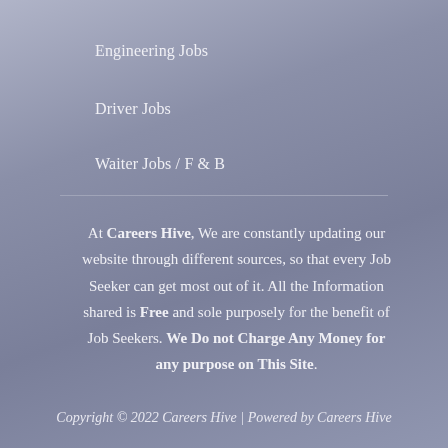Engineering Jobs
Driver Jobs
Waiter Jobs / F & B
At Careers Hive, We are constantly updating our website through different sources, so that every Job Seeker can get most out of it. All the Information shared is Free and sole purposely for the benefit of Job Seekers. We Do not Charge Any Money for any purpose on This Site.
Copyright © 2022 Careers Hive | Powered by Careers Hive